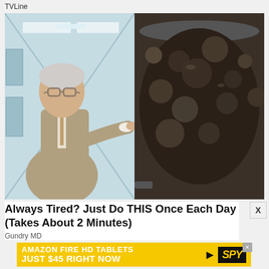TVLine
[Figure (photo): Split photo: left side shows older man in grey suit pointing right, standing in a hospital corridor; right side shows a dark pot of boiling or simmering food/liquid viewed from above.]
Always Tired? Just Do THIS Once Each Day (Takes About 2 Minutes)
Gundry MD
[Figure (infographic): Yellow banner advertisement: 'AMAZON FIRE HD TABLETS JUST $45 RIGHT NOW' with SPY logo on the right and a close X button.]